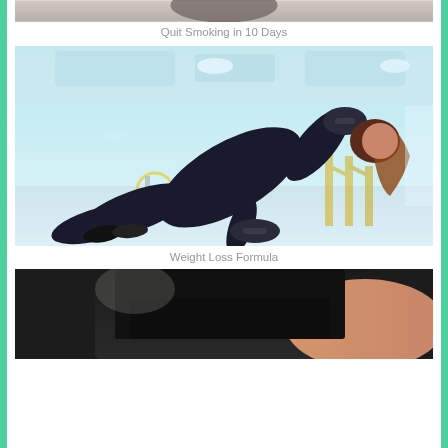[Figure (photo): Partial view of a blurred image at the top, dark/blurred subject, cropped]
Quit Smoking in 10 Days
[Figure (photo): Woman in black workout clothes performing a plank with dumbbells in a gym with exercise bikes in the background]
Weight Loss Formula
[Figure (photo): Partially visible person in black outfit, cropped at bottom of page]